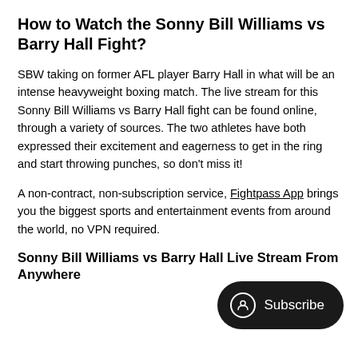How to Watch the Sonny Bill Williams vs Barry Hall Fight?
SBW taking on former AFL player Barry Hall in what will be an intense heavyweight boxing match. The live stream for this Sonny Bill Williams vs Barry Hall fight can be found online, through a variety of sources. The two athletes have both expressed their excitement and eagerness to get in the ring and start throwing punches, so don't miss it!
A non-contract, non-subscription service, Fightpass App brings you the biggest sports and entertainment events from around the world, no VPN required.
Sonny Bill Williams vs Barry Hall Live Stream From Anywhere